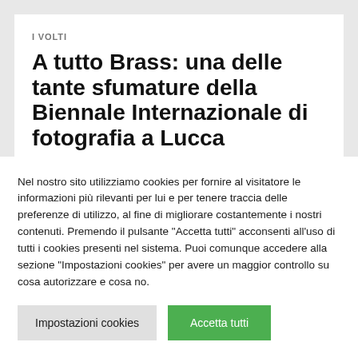I VOLTI
A tutto Brass: una delle tante sfumature della Biennale Internazionale di fotografia a Lucca
Nel nostro sito utilizziamo cookies per fornire al visitatore le informazioni più rilevanti per lui e per tenere traccia delle preferenze di utilizzo, al fine di migliorare costantemente i nostri contenuti. Premendo il pulsante "Accetta tutti" acconsenti all'uso di tutti i cookies presenti nel sistema. Puoi comunque accedere alla sezione "Impostazioni cookies" per avere un maggior controllo su cosa autorizzare e cosa no.
Impostazioni cookies | Accetta tutti